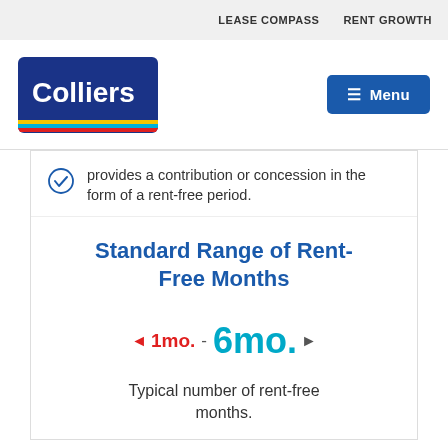LEASE COMPASS    RENT GROWTH
[Figure (logo): Colliers logo — dark blue rounded rectangle with 'Colliers' in white and colored stripes (yellow, cyan, red) at bottom]
provides a contribution or concession in the form of a rent-free period.
Standard Range of Rent-Free Months
◄ 1mo. - 6mo. ►
Typical number of rent-free months.